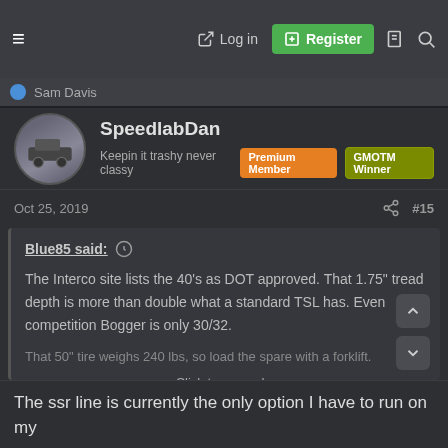≡  → Log in  [+] Register
Sam Davis
SpeedlabDan
Keepin it trashy never classy  Premium Member  GMOTM Winner
Oct 25, 2019  #15
Blue85 said: ↑
The Interco site lists the 40's as DOT approved. That 1.75" tread depth is more than double what a standard TSL has. Even competition Bogger is only 30/32.
That 50" tire weighs 240 lbs, so load the spare with a forklift.
Click to expand...
The ssr line is currently the only option I have to run on my